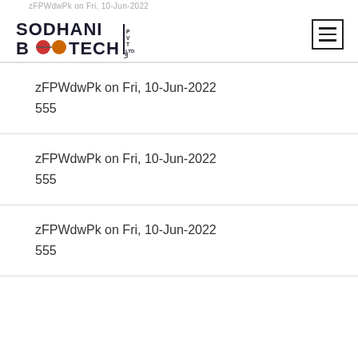zFPWdwPk on Fri, 10-Jun-2022
[Figure (logo): Sodhani Biotech Pvt. Ltd. logo with molecular structure imagery]
zFPWdwPk on Fri, 10-Jun-2022
555
zFPWdwPk on Fri, 10-Jun-2022
555
zFPWdwPk on Fri, 10-Jun-2022
555